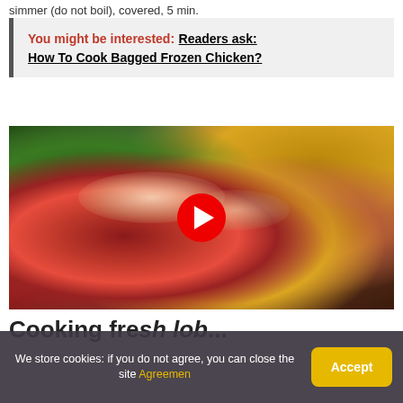simmer (do not boil), covered, 5 min.
You might be interested:  Readers ask: How To Cook Bagged Frozen Chicken?
[Figure (screenshot): Video thumbnail showing cooked lobster tails with YouTube play button overlay]
Cooking fre...
We store cookies: if you do not agree, you can close the site Agreemen